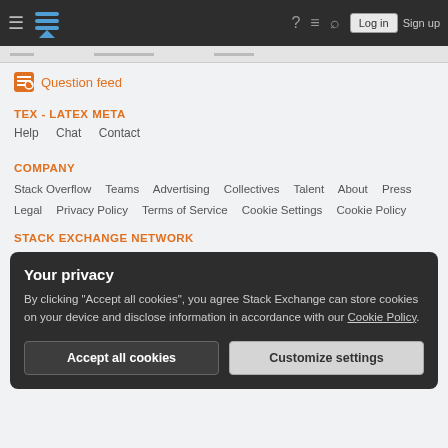Stack Exchange navigation bar with hamburger menu, logo, help, chat, search icons, Log in and Sign up buttons
Question feed
TEX - LATEX META
Help  Chat  Contact
COMPANY
Stack Overflow  Teams  Advertising  Collectives  Talent  About  Press  Legal  Privacy Policy  Terms of Service  Cookie Settings  Cookie Policy
STACK EXCHANGE NETWORK
Your privacy
By clicking "Accept all cookies", you agree Stack Exchange can store cookies on your device and disclose information in accordance with our Cookie Policy.
Accept all cookies    Customize settings